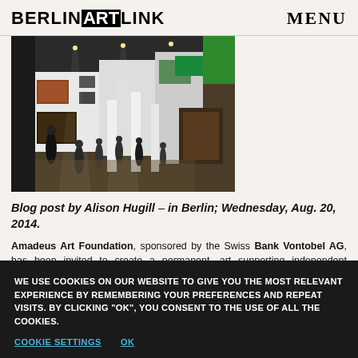BERLINARTLINK   MENU
[Figure (photo): Aerial view of an art gallery interior with visitors browsing artwork hung on white walls, taken from above.]
Blog post by Alison Hugill – in Berlin; Wednesday, Aug. 20, 2014.
Amadeus Art Foundation, sponsored by the Swiss Bank Vontobel AG, has been invited to create a permanent, art supporting independent program. In 2014 the Amadeus Art
WE USE COOKIES ON OUR WEBSITE TO GIVE YOU THE MOST RELEVANT EXPERIENCE BY REMEMBERING YOUR PREFERENCES AND REPEAT VISITS. BY CLICKING "OK", YOU CONSENT TO THE USE OF ALL THE COOKIES.
COOKIE SETTINGS   OK